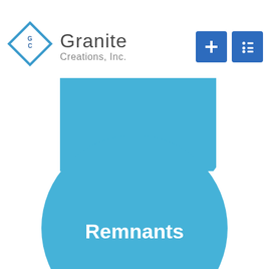[Figure (logo): Granite Creations, Inc. logo with GC diamond icon and company name]
[Figure (infographic): Two blue circles: upper half-circle (bowl shape) at top, and a full circle with 'Remnants' text label in white bold text at center, partially cut off at bottom]
[Figure (other): Two blue UI button icons in top right: a plus/add button and a list/menu button, both on dark blue square backgrounds]